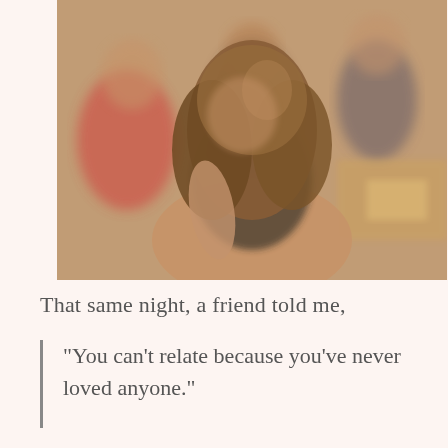[Figure (photo): A group of young people sitting together in a social setting, dimly lit room. A woman with long brown wavy hair is prominently in the foreground, head slightly bowed. Other people visible in the background.]
That same night, a friend told me,
“You can’t relate because you’ve never loved anyone.”